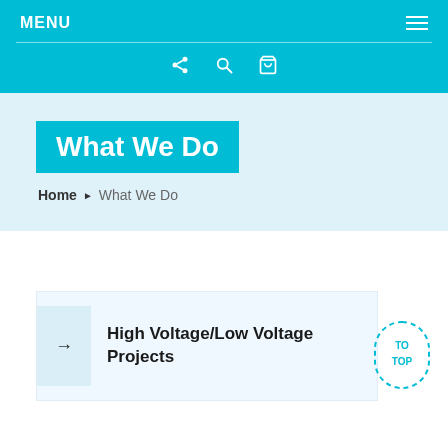MENU
Home ▶ What We Do
What We Do
High Voltage/Low Voltage Projects